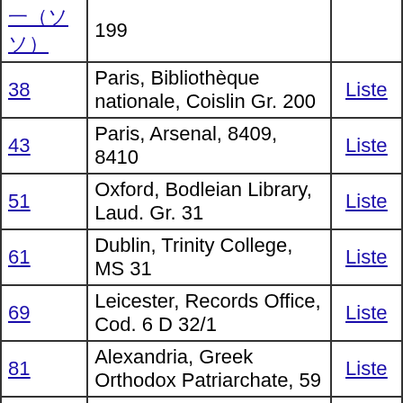| No. | Location | Link |
| --- | --- | --- |
| (partial) | 199 |  |
| 38 | Paris, Bibliothèque nationale, Coislin Gr. 200 | Liste |
| 43 | Paris, Arsenal, 8409, 8410 | Liste |
| 51 | Oxford, Bodleian Library, Laud. Gr. 31 | Liste |
| 61 | Dublin, Trinity College, MS 31 | Liste |
| 69 | Leicester, Records Office, Cod. 6 D 32/1 | Liste |
| 81 | Alexandria, Greek Orthodox Patriarchate, 59 | Liste |
| 88 | Naples, Biblioteca Nazionale, Ms. II.A.7 | Liste |
| 103 | Moscow, Historical Museum, V.96, S.347 | Liste |
| 104 | London, British Library, Harley 5537 | Liste |
| 122 | Leiden, University Library, B.P. Gr.74a | Liste |
| 177 | Munich, Bayerische Staatsbibliothek, Gr. 211 | Liste |
| 203 | London, British Library, Add. 28816 | Liste |
| 206 | London, Lambeth Palalce, 1182 | Liste |
| (partial) | Vienna, Österreichisches |  |